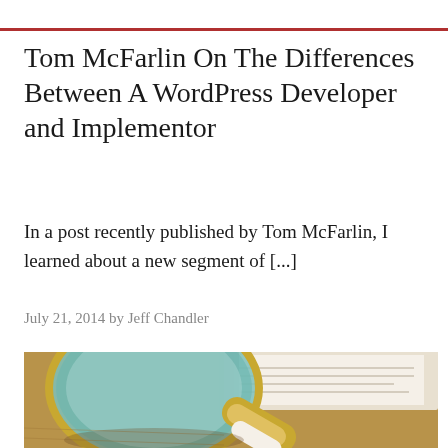Tom McFarlin On The Differences Between A WordPress Developer and Implementor
In a post recently published by Tom McFarlin, I learned about a new segment of [...]
July 21, 2014 by Jeff Chandler
[Figure (photo): Close-up photo of a magnifying glass resting on an open book, with a teal/green lens frame and brass handle, shot with shallow depth of field on a warm wooden surface]